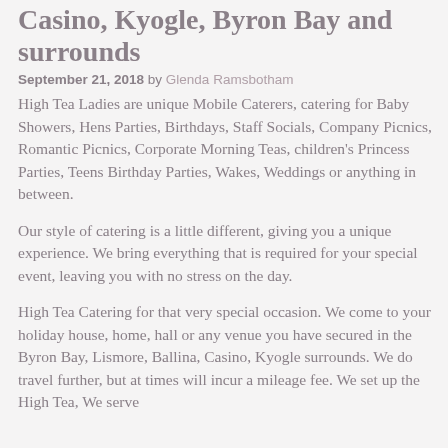Casino, Kyogle, Byron Bay and surrounds
September 21, 2018 by Glenda Ramsbotham
High Tea Ladies are unique Mobile Caterers, catering for Baby Showers, Hens Parties, Birthdays, Staff Socials, Company Picnics, Romantic Picnics, Corporate Morning Teas, children's Princess Parties, Teens Birthday Parties, Wakes, Weddings or anything in between.
Our style of catering is a little different, giving you a unique experience. We bring everything that is required for your special event, leaving you with no stress on the day.
High Tea Catering for that very special occasion.  We come to your holiday house, home, hall or any venue you have secured in the Byron Bay, Lismore, Ballina, Casino, Kyogle surrounds.  We do travel further, but at times will incur a mileage fee. We set up the High Tea, We serve